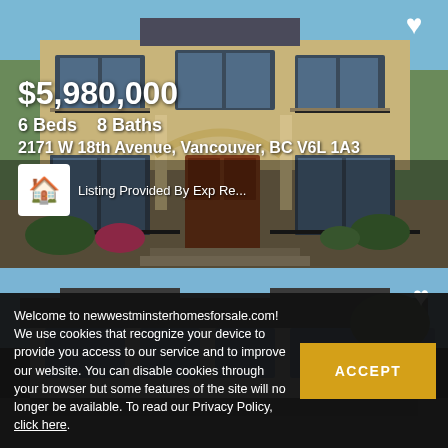[Figure (photo): Exterior photo of a two-storey beige/tan luxury home with large windows, balconies, ornate columns, dark wood double front doors, and landscaping. Heart/favorite icon in top-right corner.]
$5,980,000
6 Beds   8 Baths
2171 W 18th Avenue, Vancouver, BC V6L 1A3
Listing Provided By Exp Re...
[Figure (photo): Partial exterior photo of a second luxury home with dark roof, white/grey stucco exterior, blue-trimmed windows, trees in background. Heart/favorite icon in top-right corner.]
Welcome to newwestminsterhomesforsale.com! We use cookies that recognize your device to provide you access to our service and to improve our website. You can disable cookies through your browser but some features of the site will no longer be available. To read our Privacy Policy, click here.